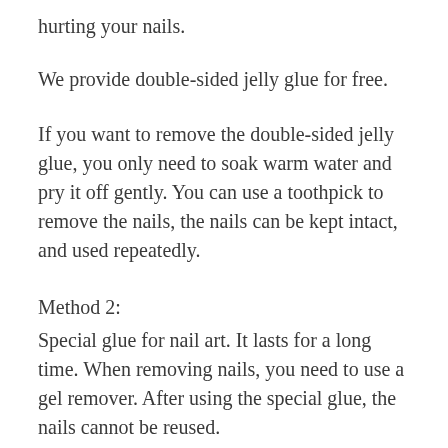hurting your nails.
We provide double-sided jelly glue for free.
If you want to remove the double-sided jelly glue, you only need to soak warm water and pry it off gently. You can use a toothpick to remove the nails, the nails can be kept intact, and used repeatedly.
Method 2:
Special glue for nail art. It lasts for a long time. When removing nails, you need to use a gel remover. After using the special glue, the nails cannot be reused.
Please note that we will provide Double-sided jelly glue for free.